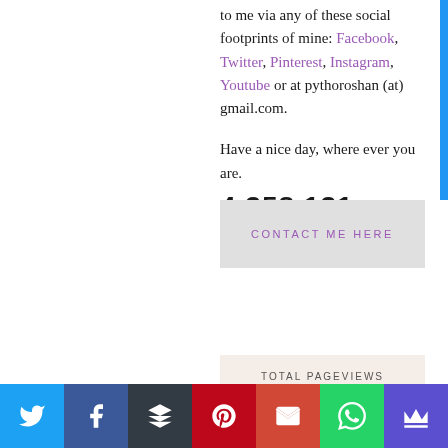to me via any of these social footprints of mine: Facebook, Twitter, Pinterest, Instagram, Youtube or at pythoroshan (at) gmail.com.
Have a nice day, where ever you are.
CONTACT ME HERE
TOTAL PAGEVIEWS
4,358,131
Twitter Facebook Buffer Pinterest Gmail WhatsApp Crown